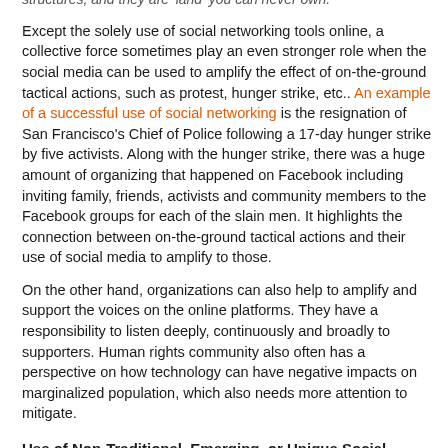structures, and they are 'land' you can never own.
Except the solely use of social networking tools online, a collective force sometimes play an even stronger role when the social media can be used to amplify the effect of on-the-ground tactical actions, such as protest, hunger strike, etc.. An example of a successful use of social networking is the resignation of San Francisco's Chief of Police following a 17-day hunger strike by five activists. Along with the hunger strike, there was a huge amount of organizing that happened on Facebook including inviting family, friends, activists and community members to the Facebook groups for each of the slain men. It highlights the connection between on-the-ground tactical actions and their use of social media to amplify to those.
On the other hand, organizations can also help to amplify and support the voices on the online platforms. They have a responsibility to listen deeply, continuously and broadly to supporters. Human rights community also often has a perspective on how technology can have negative impacts on marginalized population, which also needs more attention to mitigate.
Use of Non-Traditional, Emerging, or Unique Social Networking Tools
Emerging social networking tools involving The Groundwork, Hustle, etc. consist a new generation of tools that recognizes that power doesn't come just from having a lot of people on the email list or liking one's Facebook page, but from having deep relationships with supporters who are willing to take action on behalf beyond clicktivism. Human rights advocacy...